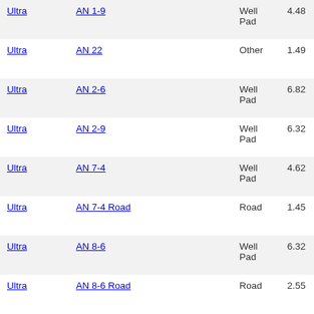| Ultra | AN 1-9 | Well Pad | 4.48 |
| Ultra | AN 22 | Other | 1.49 |
| Ultra | AN 2-6 | Well Pad | 6.82 |
| Ultra | AN 2-9 | Well Pad | 6.32 |
| Ultra | AN 7-4 | Well Pad | 4.62 |
| Ultra | AN 7-4 Road | Road | 1.45 |
| Ultra | AN 8-6 | Well Pad | 6.32 |
| Ultra | AN 8-6 Road | Road | 2.55 |